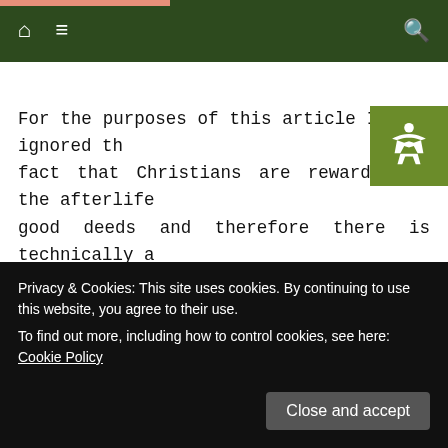Navigation bar with home, menu, and search icons
For the purposes of this article I have ignored the fact that Christians are rewarded in the afterlife for good deeds and therefore there is technically a reward, albeit spiritually. I am also choosing to ignore the fact that feeling good about doing a good deed is a reward in and of itself. I am choosing a definition of altruism that relies on an purely external and Earthly reward system to negate the existence of altruism in an individual's action, however in the context of this article the former will be seen as a have a reward for good deeds would be technically
Privacy & Cookies: This site uses cookies. By continuing to use this website, you agree to their use.
To find out more, including how to control cookies, see here: Cookie Policy